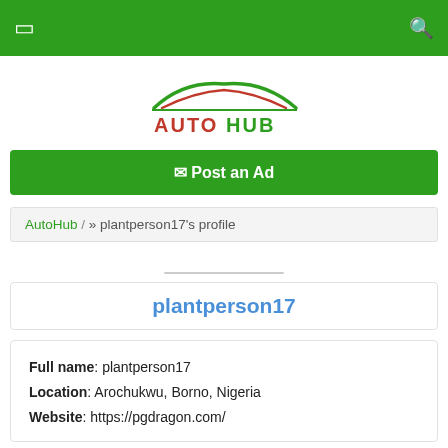☰  🔍
[Figure (logo): Auto Hub logo: stylized car silhouette arc in green and red above the text AUTO HUB in red and green]
✉ Post an Ad
AutoHub / » plantperson17's profile
plantperson17
Full name: plantperson17
Location: Arochukwu, Borno, Nigeria
Website: https://pgdragon.com/